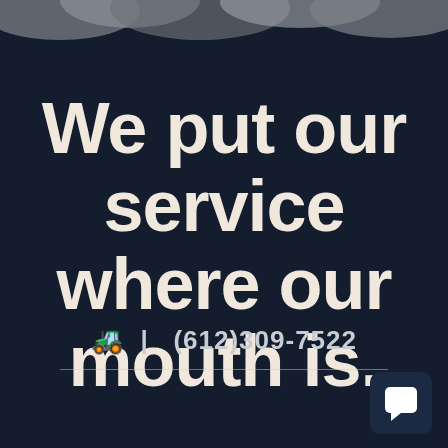[Figure (illustration): Decorative cloud shapes along the top of the image, gray/dark tones on dark navy background]
We put our service where our mouth is.
🚜 | (612)309-7522
[Figure (logo): Small dark blue rounded square with white chat/message bubble icon in the bottom right corner]